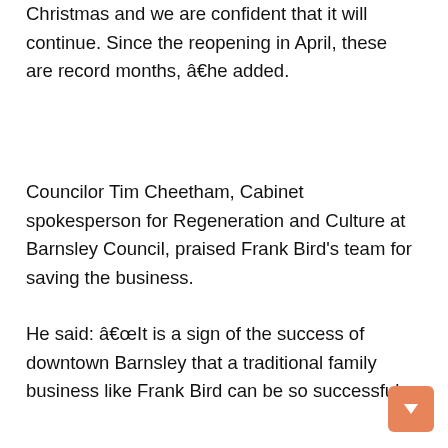Christmas and we are confident that it will continue. Since the reopening in April, these are record months, â€he added.
Councilor Tim Cheetham, Cabinet spokesperson for Regeneration and Culture at Barnsley Council, praised Frank Bird's team for saving the business.
He said: â€œIt is a sign of the success of downtown Barnsley that a traditional family business like Frank Bird can be so successful.
â€œIt is vital that there is a wide range of choices for all styles and types of people in the downtown area. It's fantastic to see Frank Bird thriving and businesses adapting to the era of